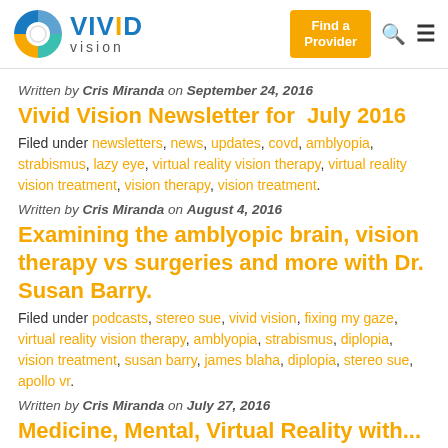[Figure (logo): Vivid Vision logo with circular icon and text]
Written by Cris Miranda on September 24, 2016
Vivid Vision Newsletter for July 2016
Filed under newsletters, news, updates, covd, amblyopia, strabismus, lazy eye, virtual reality vision therapy, virtual reality vision treatment, vision therapy, vision treatment.
Written by Cris Miranda on August 4, 2016
Examining the amblyopic brain, vision therapy vs surgeries and more with Dr. Susan Barry.
Filed under podcasts, stereo sue, vivid vision, fixing my gaze, virtual reality vision therapy, amblyopia, strabismus, diplopia, vision treatment, susan barry, james blaha, diplopia, stereo sue, apollo vr.
Written by Cris Miranda on July 27, 2016
Medicine, Mental, Virtual Reality with...